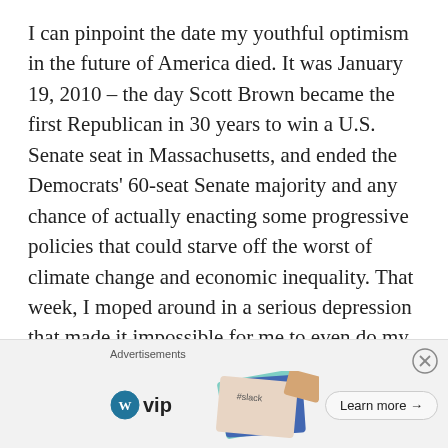I can pinpoint the date my youthful optimism in the future of America died. It was January 19, 2010 – the day Scott Brown became the first Republican in 30 years to win a U.S. Senate seat in Massachusetts, and ended the Democrats' 60-seat Senate majority and any chance of actually enacting some progressive policies that could starve off the worst of climate change and economic inequality. That week, I moped around in a serious depression that made it impossible for me to even do my job – right at a time when I was started to excel at it.
[Figure (other): Advertisement banner with WordPress VIP logo, colorful card stack showing social media brand logos (Slack, Facebook), and a 'Learn more →' button]